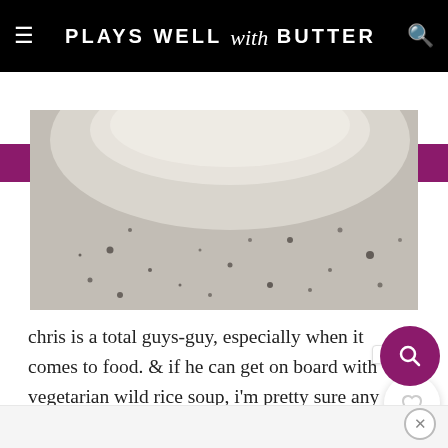PLAYS WELL with BUTTER
↓ JUMP TO RECIPE   PIN FOR LATER
[Figure (photo): Close-up overhead photo of a white bowl on a speckled grey/white stone or concrete surface with dark flecks]
chris is a total guys-guy, especially when it comes to food. & if he can get on board with vegetarian wild rice soup, i'm pretty sure any meat lover in your life can too. here's what he had to say!